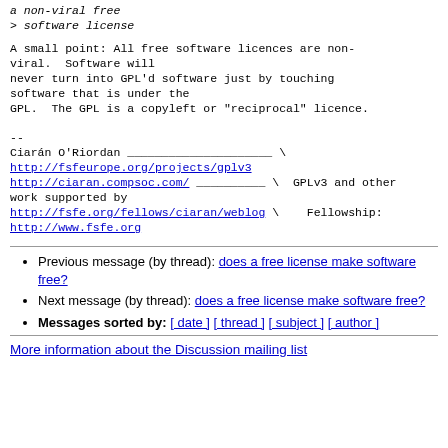a non-viral free
> software license
A small point: All free software licences are non-viral.  Software will never turn into GPL'd software just by touching software that is under the GPL.  The GPL is a copyleft or "reciprocal" licence.
--
Ciarán O'Riordan _____________________ \
http://fsfeurope.org/projects/gplv3
http://ciaran.compsoc.com/ __________ \  GPLv3 and other work supported by
http://fsfe.org/fellows/ciaran/weblog \   Fellowship:
http://www.fsfe.org
Previous message (by thread): does a free license make software free?
Next message (by thread): does a free license make software free?
Messages sorted by: [ date ] [ thread ] [ subject ] [ author ]
More information about the Discussion mailing list